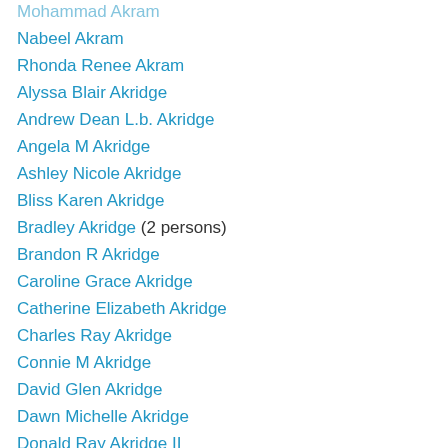Mohammad Akram
Nabeel Akram
Rhonda Renee Akram
Alyssa Blair Akridge
Andrew Dean L.b. Akridge
Angela M Akridge
Ashley Nicole Akridge
Bliss Karen Akridge
Bradley Akridge (2 persons)
Brandon R Akridge
Caroline Grace Akridge
Catherine Elizabeth Akridge
Charles Ray Akridge
Connie M Akridge
David Glen Akridge
Dawn Michelle Akridge
Donald Ray Akridge II
Drew James Akridge